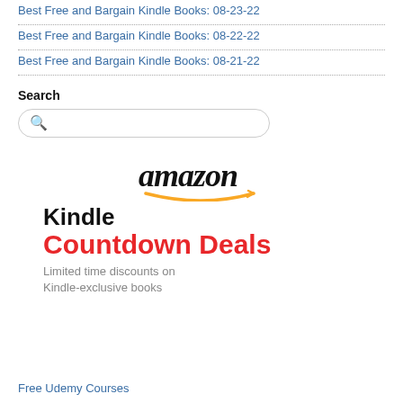Best Free and Bargain Kindle Books: 08-23-22
Best Free and Bargain Kindle Books: 08-22-22
Best Free and Bargain Kindle Books: 08-21-22
Search
[Figure (other): Amazon Kindle Countdown Deals banner with Amazon logo, 'Kindle Countdown Deals' text and 'Limited time discounts on Kindle-exclusive books' tagline]
Free Udemy Courses